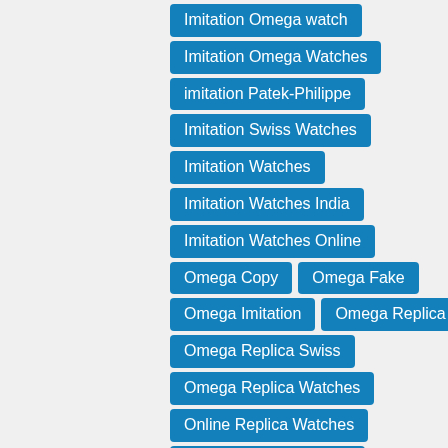Imitation Omega watch
Imitation Omega Watches
imitation Patek-Philippe
Imitation Swiss Watches
Imitation Watches
Imitation Watches India
Imitation Watches Online
Omega Copy
Omega Fake
Omega Imitation
Omega Replica
Omega Replica Swiss
Omega Replica Watches
Online Replica Watches
Patek-Philippe knockoff
Patek-Philippe Replica
Perfect Clone Watches
Perfect Replica Watch
Replica Omega